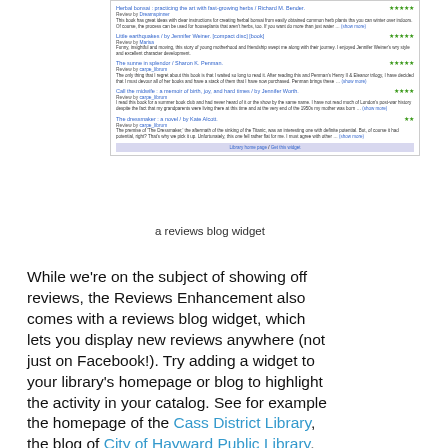[Figure (screenshot): A reviews blog widget showing multiple book reviews with star ratings, reviewer names, and review text snippets, with a library homepage link at the bottom.]
a reviews blog widget
While we're on the subject of showing off reviews, the Reviews Enhancement also comes with a reviews blog widget, which lets you display new reviews anywhere (not just on Facebook!). Try adding a widget to your library's homepage or blog to highlight the activity in your catalog. See for example the homepage of the Cass District Library, the blog of City of Hayward Public Library, or how the City of Port